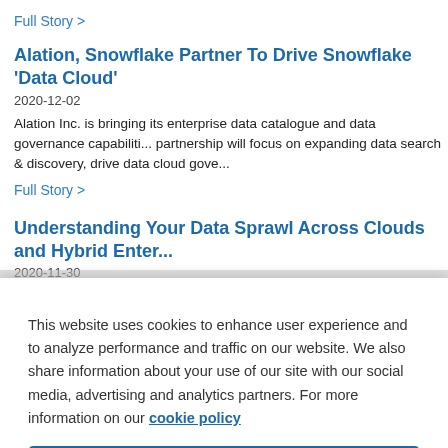Full Story >
Alation, Snowflake Partner To Drive Snowflake ‘Data Cloud’
2020-12-02
Alation Inc. is bringing its enterprise data catalogue and data governance capabilities... partnership will focus on expanding data search & discovery, drive data cloud gove...
Full Story >
Understanding Your Data Sprawl Across Clouds and Hybrid Enter...
2020-11-30
As enterprises recognize the value of their data ecosystem, thy are taking a next st... Elephant Ventures explains why modern lean product development practices can r... and drive valuable data-driven decision making.
This website uses cookies to enhance user experience and to analyze performance and traffic on our website. We also share information about your use of our site with our social media, advertising and analytics partners. For more information on our cookie policy
Accept All Cookies
Cookies Settings